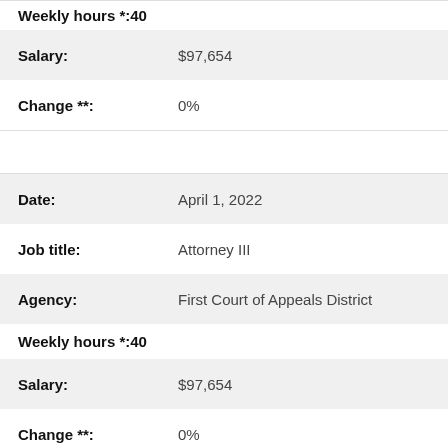| Weekly hours *: | 40 |
| Salary: | $97,654 |
| Change **: | 0% |
| Date: | April 1, 2022 |
| Job title: | Attorney III |
| Agency: | First Court of Appeals District |
| Weekly hours *: | 40 |
| Salary: | $97,654 |
| Change **: | 0% |
| Date: | Jan. 1, 2022 |